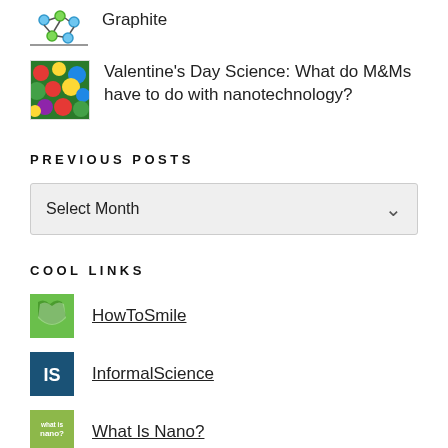Graphite
Valentine's Day Science: What do M&Ms have to do with nanotechnology?
PREVIOUS POSTS
Select Month
COOL LINKS
HowToSmile
InformalScience
What Is Nano?
NanoHUB